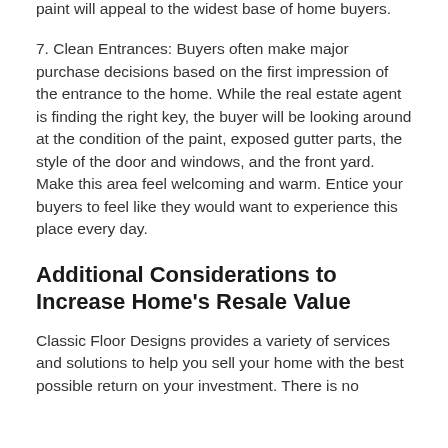living room areas. Mute tones that blend in with the paint will appeal to the widest base of home buyers.
7. Clean Entrances: Buyers often make major purchase decisions based on the first impression of the entrance to the home. While the real estate agent is finding the right key, the buyer will be looking around at the condition of the paint, exposed gutter parts, the style of the door and windows, and the front yard. Make this area feel welcoming and warm. Entice your buyers to feel like they would want to experience this place every day.
Additional Considerations to Increase Home's Resale Value
Classic Floor Designs provides a variety of services and solutions to help you sell your home with the best possible return on your investment. There is no